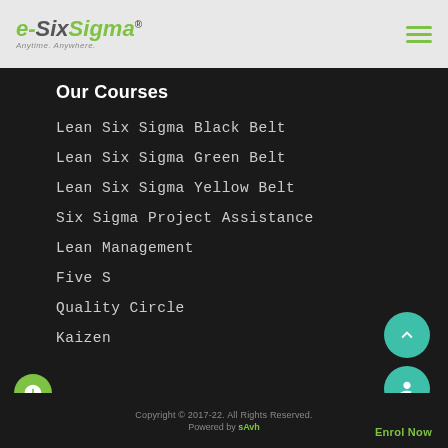[Figure (logo): e-SixSigma logo with tagline 'Anytime. Anywhere.' and hamburger menu icon in top right]
Our Courses
Lean Six Sigma Black Belt
Lean Six Sigma Green Belt
Lean Six Sigma Yellow Belt
Six Sigma Project Assistance
Lean Management
Five S
Quality Circle
Kaizen
Copyright © 2017-22. All Rights Reserved. Powered by sAvh